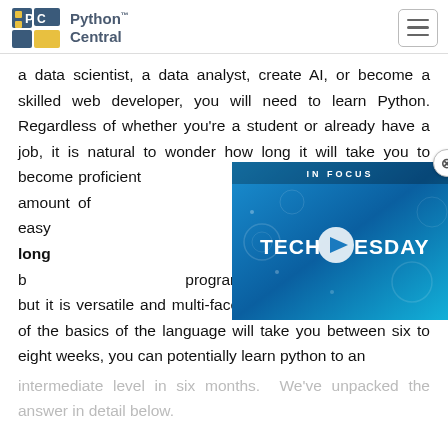Python Central
a data scientist, a data analyst, create AI, or become a skilled web developer, you will need to learn Python. Regardless of whether you're a student or already have a job, it is natural to wonder how long it will take you to become proficient. Understanding the amount of to put in makes it easy milestones. So how long Python? Python may b programming languages to pick up, but it is versatile and multi-faceted. While getting the hang of the basics of the language will take you between six to eight weeks, you can potentially learn python to an
[Figure (screenshot): Video overlay with blue background showing 'IN FOCUS' label and 'TECH TUESDAY' text with play button]
intermediate level in six months. We've unpacked the answer in detail below.